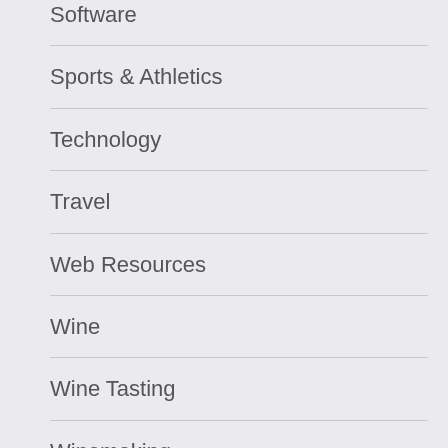Software
Sports & Athletics
Technology
Travel
Web Resources
Wine
Wine Tasting
Winemaking